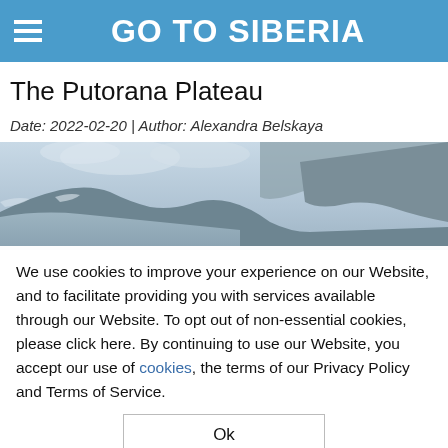GO TO SIBERIA
The Putorana Plateau
Date: 2022-02-20 | Author: Alexandra Belskaya
[Figure (photo): Landscape photo of the Putorana Plateau showing rocky cliffs and a body of water under overcast skies]
We use cookies to improve your experience on our Website, and to facilitate providing you with services available through our Website. To opt out of non-essential cookies, please click here. By continuing to use our Website, you accept our use of cookies, the terms of our Privacy Policy and Terms of Service.